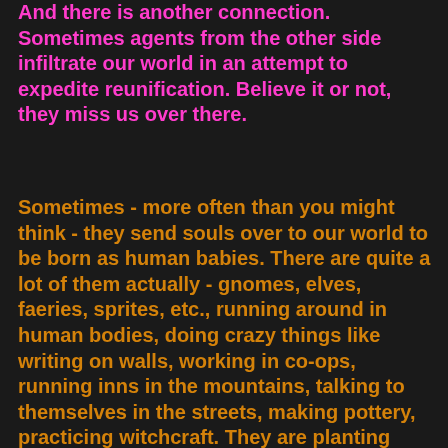And there is another connection. Sometimes agents from the other side infiltrate our world in an attempt to expedite reunification. Believe it or not, they miss us over there.
Sometimes - more often than you might think - they send souls over to our world to be born as human babies. There are quite a lot of them actually - gnomes, elves, faeries, sprites, etc., running around in human bodies, doing crazy things like writing on walls, working in co-ops, running inns in the mountains, talking to themselves in the streets, making pottery, practicing witchcraft. They are planting biodynamic gardens, sitting in the back yard naked, arguing with satan. They are in asylums pumped full of Thorazine, in a classroom on Ritalin and lithium. They live with Indians. They run recycling centers. They are starting revolutions, corrupting the young, inventing